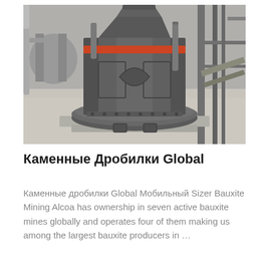[Figure (photo): Industrial cone crusher machine (dark grey, heavy equipment) photographed in a factory/mine setting. The machine has a cylindrical body with an orange/red band near the top, a large circular base, and is surrounded by industrial structures and piping.]
Каменные Дробилки Global
Каменные дробилки Global Мобильный Sizer Bauxite Mining Alcoa has ownership in seven active bauxite mines globally and operates four of them making us among the largest bauxite producers in …